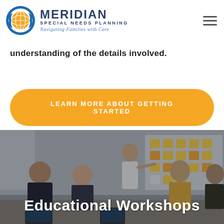[Figure (logo): Meridian Special Needs Planning logo with globe icon and tagline 'Navigating Families with Care']
understanding of the details involved.
Learn More About Getting Started
[Figure (photo): Group of people in a workshop setting with a presenter pointing at a board covered in sticky notes]
Educational Workshops